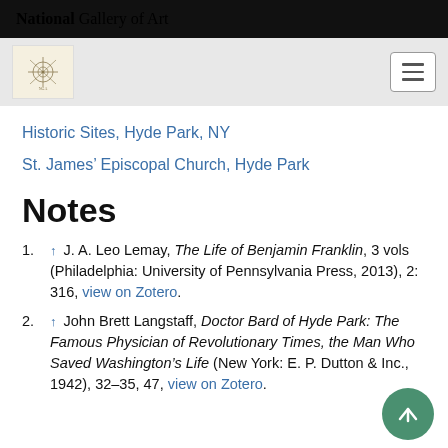National Gallery of Art
Historic Sites, Hyde Park, NY
St. James' Episcopal Church, Hyde Park
Notes
↑ J. A. Leo Lemay, The Life of Benjamin Franklin, 3 vols (Philadelphia: University of Pennsylvania Press, 2013), 2: 316, view on Zotero.
↑ John Brett Langstaff, Doctor Bard of Hyde Park: The Famous Physician of Revolutionary Times, the Man Who Saved Washington's Life (New York: E. P. Dutton & Inc., 1942), 32–35, 47, view on Zotero.